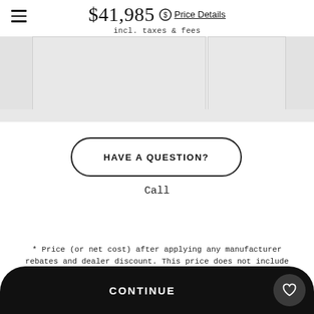$41,985 incl. taxes & fees Price Details
[Figure (screenshot): Gray placeholder image panels showing a vehicle listing photo area with left and right strips]
HAVE A QUESTION?
Call
* Price (or net cost) after applying any manufacturer rebates and dealer discount. This price does not include government fees and taxes, any finance charges, any dealer document processing charge, any electronic
CONTINUE